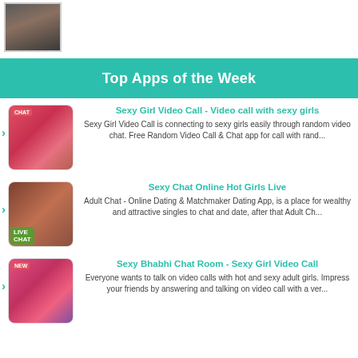[Figure (photo): Small thumbnail photo of a person in dark clothing against a dark background, with a light border frame]
Top Apps of the Week
[Figure (screenshot): App icon for Sexy Girl Video Call showing a woman in colorful outfit with CHAT badge overlay]
Sexy Girl Video Call - Video call with sexy girls
Sexy Girl Video Call is connecting to sexy girls easily through random video chat. Free Random Video Call & Chat app for call with rand...
[Figure (screenshot): App icon for Sexy Chat Online Hot Girls Live showing women with LIVE CHAT badge overlay]
Sexy Chat Online Hot Girls Live
Adult Chat - Online Dating & Matchmaker Dating App, is a place for wealthy and attractive singles to chat and date, after that Adult Ch...
[Figure (screenshot): App icon for Sexy Bhabhi Chat Room showing women with NEW badge overlay]
Sexy Bhabhi Chat Room - Sexy Girl Video Call
Everyone wants to talk on video calls with hot and sexy adult girls. Impress your friends by answering and talking on video call with a ver...